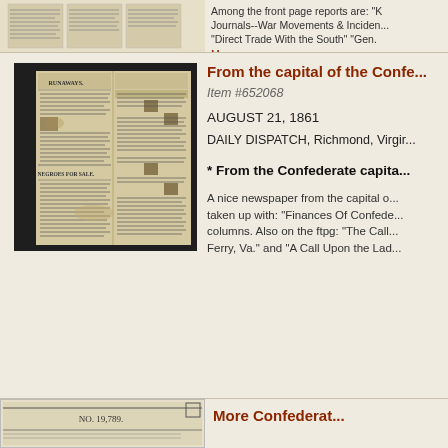[Figure (photo): Partial view of an old newspaper page at the top of the document listing]
Among the front page reports are: "Journals--War Movements & Incidents" "Direct Trade With the South" "Gen. More
[Figure (photo): Photograph of the Daily Dispatch newspaper from Richmond, Virginia, dated August 21, 1861, showing columns with classified ads including RUNAWAYS and FOR SALE sections]
From the capital of the Confe...
Item #652068
AUGUST 21, 1861
DAILY DISPATCH, Richmond, Virgir...
* From the Confederate capita...
A nice newspaper from the capital o... taken up with: "Finances Of Confede... columns. Also on the ftpg: "The Call Ferry, Va." and "A Call Upon the Lac...
[Figure (photo): Partial view of another newspaper at the bottom, showing NO. 19,789.]
More Confederat...